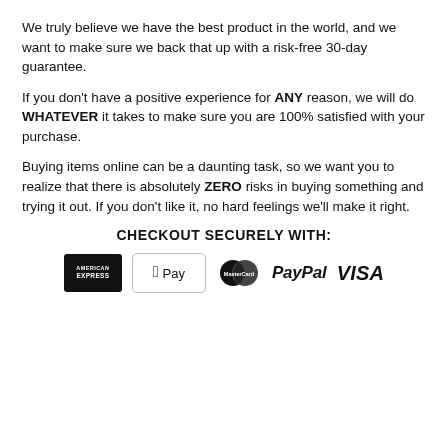We truly believe we have the best product in the world, and we want to make sure we back that up with a risk-free 30-day guarantee.
If you don't have a positive experience for ANY reason, we will do WHATEVER it takes to make sure you are 100% satisfied with your purchase.
Buying items online can be a daunting task, so we want you to realize that there is absolutely ZERO risks in buying something and trying it out. If you don't like it, no hard feelings we'll make it right.
CHECKOUT SECURELY WITH:
[Figure (logo): Payment method logos: American Express, Apple Pay, MasterCard, PayPal, VISA]